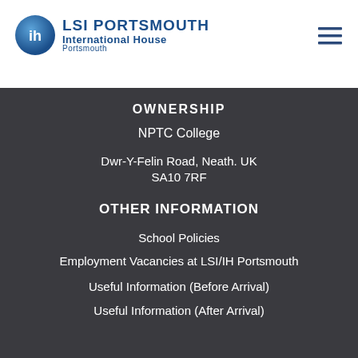[Figure (logo): LSI Portsmouth International House Portsmouth logo with blue globe icon and blue text]
OWNERSHIP
NPTC College
Dwr-Y-Felin Road, Neath. UK
SA10 7RF
OTHER INFORMATION
School Policies
Employment Vacancies at LSI/IH Portsmouth
Useful Information (Before Arrival)
Useful Information (After Arrival)